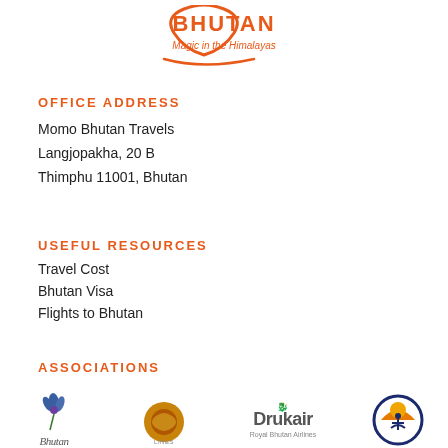[Figure (logo): Bhutan Magic in the Himalayas logo with orange swoosh and text]
OFFICE ADDRESS
Momo Bhutan Travels
Langjopakha, 20 B
Thimphu 11001, Bhutan
USEFUL RESOURCES
Travel Cost
Bhutan Visa
Flights to Bhutan
ASSOCIATIONS
[Figure (logo): Association logos: Bhutan (stylized flower/script), Bhutan Airlines (fish sun logo), Drukair Royal Bhutan Airlines, and another association logo (orange sun with person figure)]